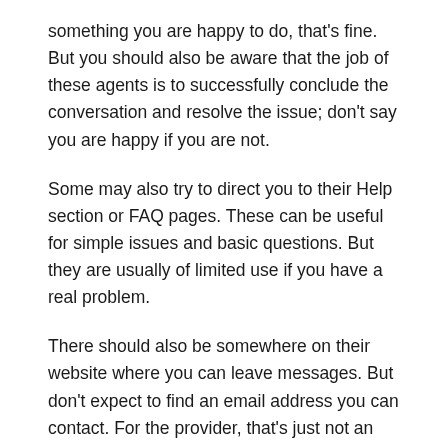something you are happy to do, that's fine. But you should also be aware that the job of these agents is to successfully conclude the conversation and resolve the issue; don't say you are happy if you are not.
Some may also try to direct you to their Help section or FAQ pages. These can be useful for simple issues and basic questions. But they are usually of limited use if you have a real problem.
There should also be somewhere on their website where you can leave messages. But don't expect to find an email address you can contact. For the provider, that's just not an efficient way of dealing with customer queries and complaints.
If all else fails, you could try leaving reviews of your experiences on sites such as TrustPilot, or on Google. Or contacting consumer right organisations. Cancelling